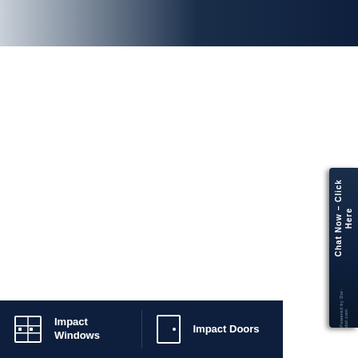[Figure (other): Top gradient banner transitioning from light gray-blue on left to dark navy on right]
[Figure (other): Right side vertical chat tab widget with text 'Chat Now - Click Here' rotated 90 degrees, dark navy blue background with 3D book-like appearance]
[Figure (other): Bottom dark navy bar with two sections: 'Impact Windows' with window icon on left, 'Impact Doors' with door icon on right]